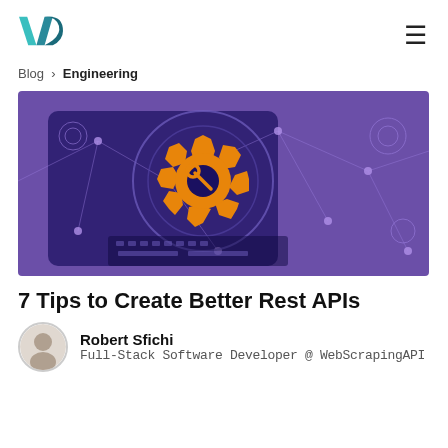[Figure (logo): WebScrapingAPI logo - stylized W/S letters in teal/dark teal]
[Figure (illustration): Purple-tinted banner image showing a gear with a wrench icon over a digital network interface, person typing on laptop in background]
7 Tips to Create Better Rest APIs
Robert Sfichi
Full-Stack Software Developer @ WebScrapingAPI